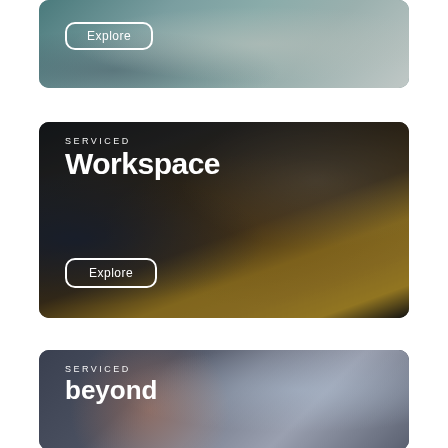[Figure (photo): Top card partially visible: office/lounge interior with teal walls and an Explore button overlay]
[Figure (photo): Middle card: Serviced Workspace card showing an industrial-style lounge with yellow/mustard sofas and leather chairs, exposed brick, dark ceiling. Text overlay: SERVICED / Workspace. Explore button at bottom left.]
[Figure (photo): Bottom card partially visible: Serviced Beyond card showing a modern glass building exterior. Text overlay: SERVICED / beyond.]